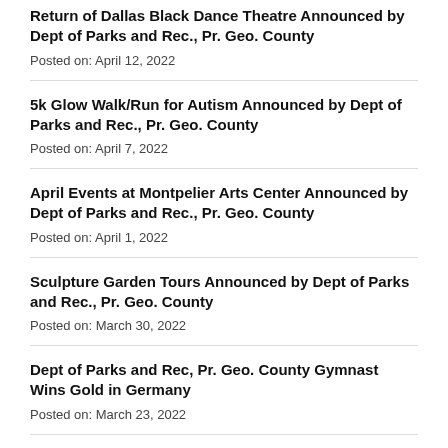Return of Dallas Black Dance Theatre Announced by Dept of Parks and Rec., Pr. Geo. County
Posted on: April 12, 2022
5k Glow Walk/Run for Autism Announced by Dept of Parks and Rec., Pr. Geo. County
Posted on: April 7, 2022
April Events at Montpelier Arts Center Announced by Dept of Parks and Rec., Pr. Geo. County
Posted on: April 1, 2022
Sculpture Garden Tours Announced by Dept of Parks and Rec., Pr. Geo. County
Posted on: March 30, 2022
Dept of Parks and Rec, Pr. Geo. County Gymnast Wins Gold in Germany
Posted on: March 23, 2022
Black Art Showcase Announced by Dept of Parks and Rec., Pr.